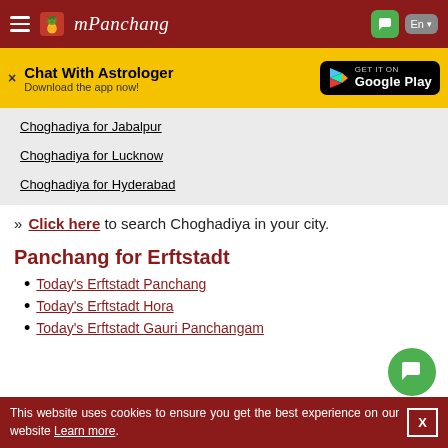mPanchang
[Figure (screenshot): mPanchang website screenshot with navigation header, chat with astrologer banner, city links, and panchang section]
Choghadiya for Jabalpur
Choghadiya for Lucknow
Choghadiya for Hyderabad
» Click here to search Choghadiya in your city.
Panchang for Erftstadt
Today's Erftstadt Panchang
Today's Erftstadt Hora
Today's Erftstadt Gauri Panchangam
This website uses cookies to ensure you get the best experience on our website Learn more.